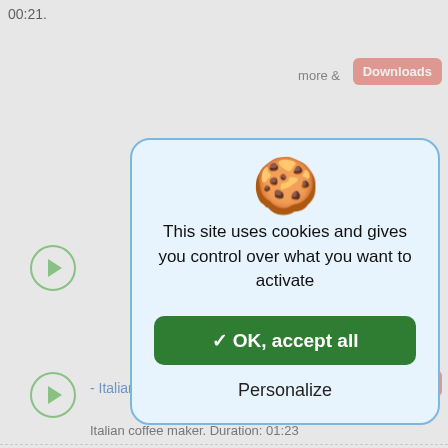00:21.
more &
[Figure (screenshot): Cookie consent dialog with cookie-wearing-headphones emoji, text 'This site uses cookies and gives you control over what you want to activate', green 'OK, accept all' button, and 'Personalize' link]
- Italian coffee maker
Italian coffee maker. Duration: 01:23